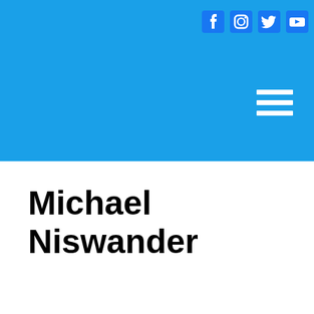GIVE ONLINE
[Figure (logo): Social media icons: Facebook, Instagram, Twitter, YouTube in white on blue background]
[Figure (other): Hamburger menu icon (three white horizontal lines) on blue banner background]
Michael Niswander